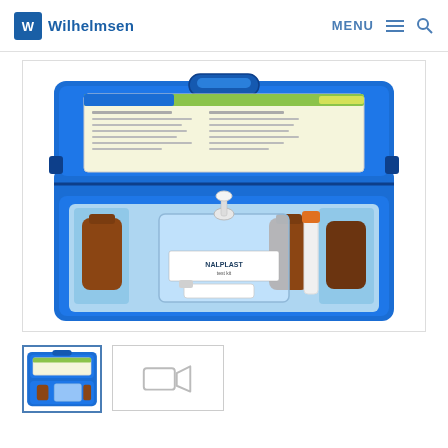Wilhelmsen | MENU
[Figure (photo): Blue plastic carrying case open, showing laboratory test kit contents: a clear bottle labeled 'NALPLAST', brown reagent bottles, test tubes, and an orange-capped component, with an instruction sheet inside the lid.]
[Figure (photo): Thumbnail image of the same blue carrying case product.]
[Figure (other): Thumbnail placeholder showing a video camera icon indicating a product video is available.]